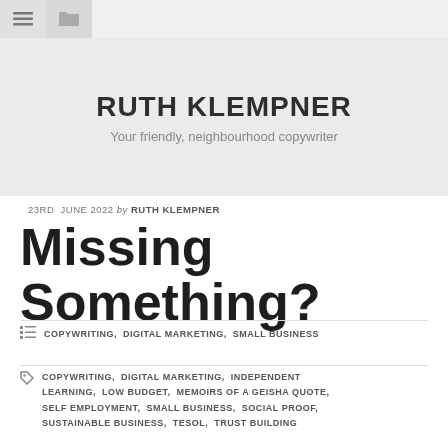RUTH KLEMPNER
Your friendly, neighbourhood copywriter
23RD JUNE 2022 by RUTH KLEMPNER
Missing Something?
COPYWRITING, DIGITAL MARKETING, SMALL BUSINESS
COPYWRITING, DIGITAL MARKETING, INDEPENDENT LEARNING, LOW BUDGET, MEMOIRS OF A GEISHA QUOTE, SELF EMPLOYMENT, SMALL BUSINESS, SOCIAL PROOF, SUSTAINABLE BUSINESS, TESOL, TRUST BUILDING